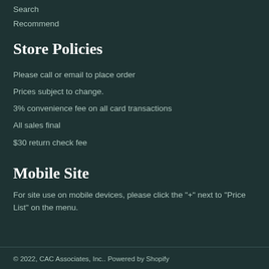Search
Recommend
Store Policies
Please call or email to place order
Prices subject to change.
3% convenience fee on all card transactions
All sales final
$30 return check fee
Mobile Site
For site use on mobile devices, please click the "+" next to "Price List" on the menu.
© 2022, CAC Associates, Inc.. Powered by Shopify